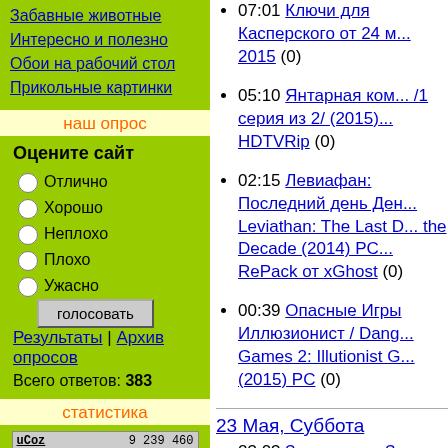Забавные животные
Интересно и полезно
Обои на рабочий стол
Прикольные картинки
наш опрос
Оцените сайт
Отлично
Хорошо
Неплохо
Плохо
Ужасно
голосовать
Результаты | Архив опросов
Всего ответов: 383
статистика
uCoz  9 239 460
Hits...... 9
Hosts... 9
Онлайн всего: 1
Гостей: 1
Пользователей: 0
онлайн - игры
07:01 Ключи для Касперского от 24 м... 2015 (0)
05:10 Янтарная ком... /1 серия из 2/ (2015)... HDTVRip (0)
02:15 Левиафан: Последний день Ден... Leviathan: The Last D... the Decade (2014) PC... RePack от xGhost (0)
00:39 Опасные Игры Иллюзионист / Dang... Games 2: Illutionist G... (2015) PC (0)
23 Мая, Суббота
23:03 Затерянные Зе... Четыре Всадника / Lands: The Four Ho...